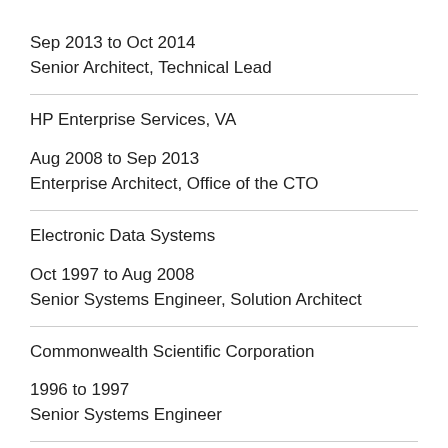Sep 2013 to Oct 2014
Senior Architect, Technical Lead
HP Enterprise Services, VA
Aug 2008 to Sep 2013
Enterprise Architect, Office of the CTO
Electronic Data Systems
Oct 1997 to Aug 2008
Senior Systems Engineer, Solution Architect
Commonwealth Scientific Corporation
1996 to 1997
Senior Systems Engineer
NASA